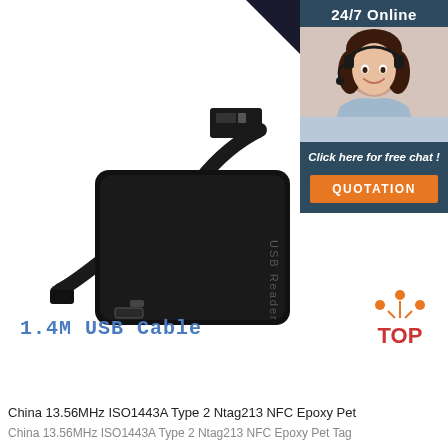[Figure (photo): Product photo of a black USB NFC reader device with a 1.4M USB cable, shown on white background. The reader is a flat black rectangular device labeled 'USB Reader'. The USB cable has a standard USB-A connector and a mini-USB connector.]
1.4M USB Cable
[Figure (infographic): 24/7 Online customer service sidebar with photo of a smiling woman with headset, 'Click here for free chat!' text, and orange QUOTATION button. Includes a 'TOP' badge with orange dots at bottom right.]
China 13.56MHz ISO1443A Type 2 Ntag213 NFC Epoxy Pet
China 13.56MHz ISO1443A Type 2 Ntag213 NFC Epoxy Pet Tag